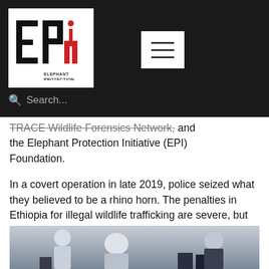[Figure (logo): Elephant Protection Initiative (EPI) logo — white background with stylized 'EPI' letters in black and red, with text 'ELEPHANT PROTECTION INITIATIVE' below]
TRACE Wildlife Forensics Network, and the Elephant Protection Initiative (EPI) Foundation.
In a covert operation in late 2019, police seized what they believed to be a rhino horn. The penalties in Ethiopia for illegal wildlife trafficking are severe, but first the authorities needed to prove that the seizure was indeed rhino horn.
[Figure (photo): Photograph showing people, partially visible at the bottom of the page]